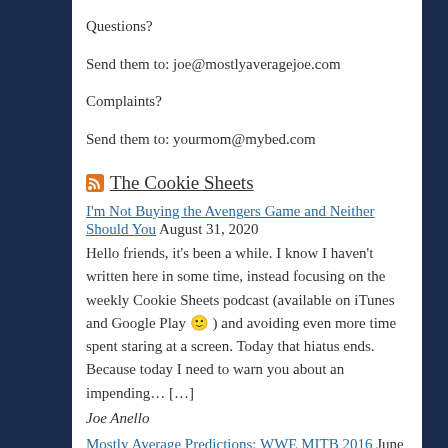Questions?
Send them to: joe@mostlyaveragejoe.com
Complaints?
Send them to: yourmom@mybed.com
The Cookie Sheets
I'm Not Buying the Avengers Game and Neither Should You August 31, 2020
Hello friends, it's been a while. I know I haven't written here in some time, instead focusing on the weekly Cookie Sheets podcast (available on iTunes and Google Play 🙂 ) and avoiding even more time spent staring at a screen. Today that hiatus ends. Because today I need to warn you about an impending… […]
Joe Anello
Mostly Average Predictions: WWE MITB 2016 June